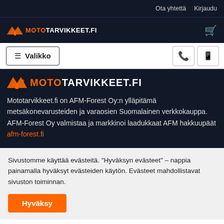Ota yhtettä   Kirjaudu
[Figure (logo): Mototarvikkeet.fi logo in header bar with shopping cart icon]
≡  Valikko
[Figure (logo): Mototarvikkeet.fi large logo in dark hero section]
Mototarvikkeet.fi on AFM-Forest Oy:n ylläpitämä metsäkonevarusteiden ja varaosien Suomalainen verkkokauppa. AFM-Forest Oy valmistaa ja markkinoi laadukkaat AFM hakkuupäät afm-forest.fi
Sivustomme käyttää evästeitä. "Hyväksyn evästeet" – nappia painamalla hyväksyt evästeiden käytön. Evästeet mahdollistavat sivuston toiminnan.
Hyväksy